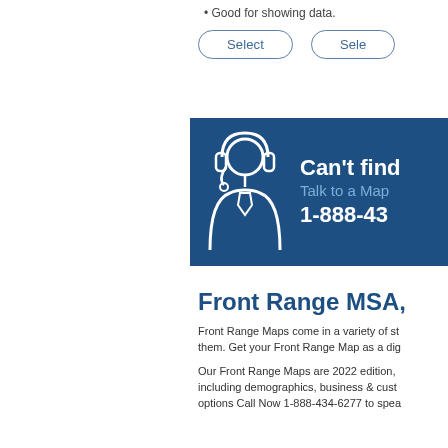Good for showing data.
Great as...
[Figure (illustration): Two Select buttons side by side]
[Figure (infographic): Blue banner with customer support icon showing text: Can't find [what you need?] Talk to a Map [Expert] 1-888-43[4-6277]]
Front Range MSA,
Front Range Maps come in a variety of styles. Get your Front Range Map as a dig...
Our Front Range Maps are 2022 edition, including demographics, business & cust... options Call Now 1-888-434-6277 to spea...